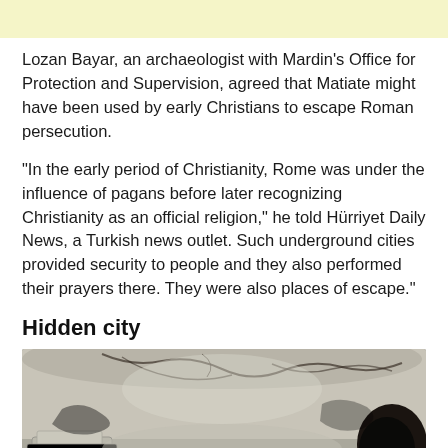Lozan Bayar, an archaeologist with Mardin's Office for Protection and Supervision, agreed that Matiate might have been used by early Christians to escape Roman persecution.
“In the early period of Christianity, Rome was under the influence of pagans before later recognizing Christianity as an official religion,” he told Hürriyet Daily News, a Turkish news outlet. Such underground cities provided security to people and they also performed their prayers there. They were also places of escape.”
Hidden city
[Figure (photo): Interior of an underground cave or tunnel carved from white/grey rock, showing rough stone walls and ceiling with dark markings, and a dark opening visible at the right side.]